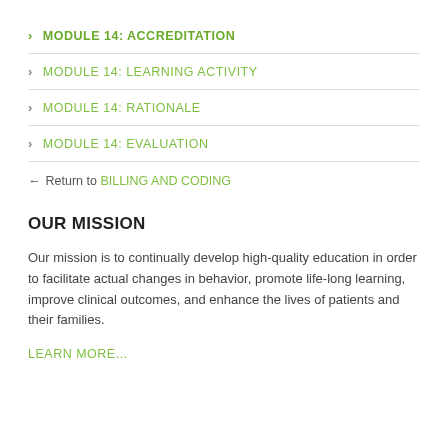MODULE 14: ACCREDITATION
MODULE 14: LEARNING ACTIVITY
MODULE 14: RATIONALE
MODULE 14: EVALUATION
← Return to BILLING AND CODING
OUR MISSION
Our mission is to continually develop high-quality education in order to facilitate actual changes in behavior, promote life-long learning, improve clinical outcomes, and enhance the lives of patients and their families.
LEARN MORE...